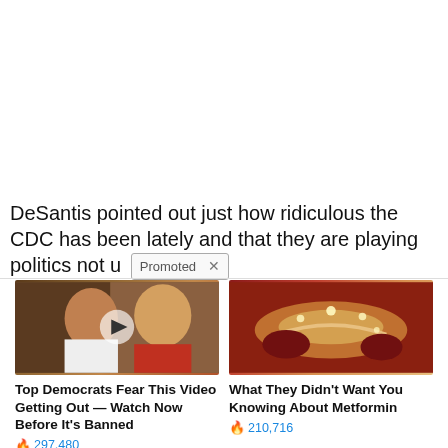DeSantis pointed out just how ridiculous the CDC has been lately and that they are playing politics not u
[Figure (screenshot): Promoted label badge with X close button]
[Figure (photo): Photo of Trump and Melania with a play button overlay]
Top Democrats Fear This Video Getting Out — Watch Now Before It's Banned
297,480
[Figure (photo): Medical illustration of pancreas/organ tissue]
What They Didn't Want You Knowing About Metformin
210,716